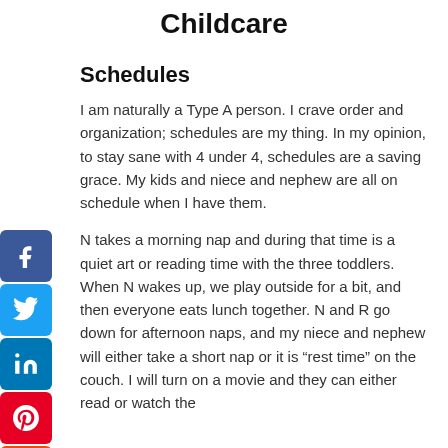Childcare
Schedules
I am naturally a Type A person. I crave order and organization; schedules are my thing. In my opinion, to stay sane with 4 under 4, schedules are a saving grace. My kids and niece and nephew are all on schedule when I have them.
N takes a morning nap and during that time is a quiet art or reading time with the three toddlers. When N wakes up, we play outside for a bit, and then everyone eats lunch together. N and R go down for afternoon naps, and my niece and nephew will either take a short nap or it is “rest time” on the couch. I will turn on a movie and they can either read or watch the